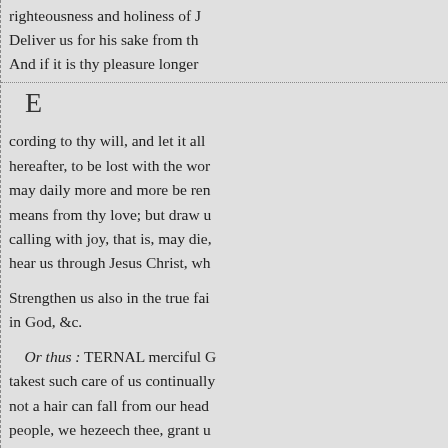righteousness and holiness of J... Deliver us for his sake from th... And if it is thy pleasure longer...
E
cording to thy will, and let it all... hereafter, to be lost with the wor... may daily more and more be ren... means from thy love; but draw u... calling with joy, that is, may die,... hear us through Jesus Christ, wh...
Strengthen us also in the true fai... in God, &c.
Or thus : TERNAL merciful G... takest such care of us continually... not a hair can fall from our head... people, we hezeech thee, grant u... misery, and patiently to hear thy... know that they are not the evide... be condemned with the world.-C... more united to Christ, as membe... and in glory. Lighten the cross, s...